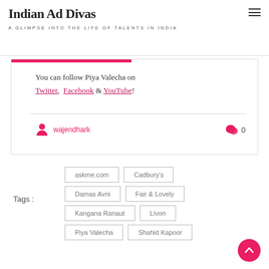Indian Ad Divas
A GLIMPSE INTO THE LIFE OF TALENTS IN INDIA
You can follow Piya Valecha on Twitter, Facebook & YouTube!
wajendhark
0
Tags : askme.com  Cadbury's  Damas Avni  Fair & Lovely  Kangana Ranaut  Livon  Piya Valecha  Shahid Kapoor